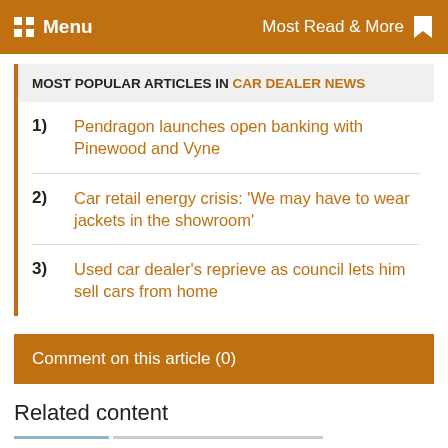Menu | Most Read & More
MOST POPULAR ARTICLES IN CAR DEALER NEWS
1) Pendragon launches open banking with Pinewood and Vyne
2) Car retail energy crisis: 'We may have to wear jackets in the showroom'
3) Used car dealer's reprieve as council lets him sell cars from home
Comment on this article (0)
Related content